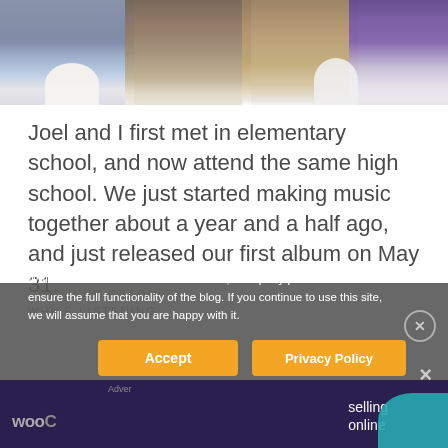[Figure (photo): Partial photo showing people sitting together, visible from waist down, wearing casual clothing including a blue denim jacket, fuzzy sweater, brown pants, and purple sleeve. Taken outdoors in bright sunlight.]
Joel and I first met in elementary school, and now attend the same high school. We just started making music together about a year and a half ago, and just released our first album on May 31.
CONTINUE READING —
WHILE LISTENING
While we do not use cookies ourselves, third-party partners do so to ensure the full functionality of the blog. If you continue to use this site, we will assume that you are happy with it.
Accept
Privacy Policy